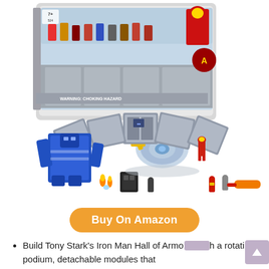[Figure (photo): LEGO Marvel Avengers Iron Man Hall of Armor set (76125) product photo showing the box and the built set with minifigures, blue mech suit, rotating podium, detachable modules, and various Iron Man armor minifigures.]
Buy On Amazon
Build Tony Stark's Iron Man Hall of Armor with a rotating podium, detachable modules that